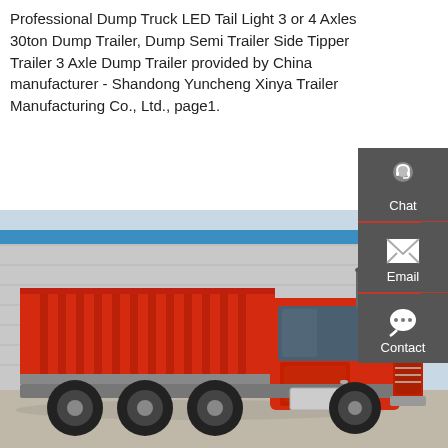Professional Dump Truck LED Tail Light 3 or 4 Axles 30ton Dump Trailer, Dump Semi Trailer Side Tipper Trailer 3 Axle Dump Trailer provided by China manufacturer - Shandong Yuncheng Xinya Trailer Manufacturing Co., Ltd., page1.
[Figure (infographic): Red GET A QUOTE button]
[Figure (infographic): Dark grey sidebar with Chat (headset icon), Email (envelope icon), and Contact (speech bubble icon) items]
[Figure (photo): Side view of a large red dump truck parked in front of a metal warehouse building. The truck has multiple axles and a large red tipper bed.]